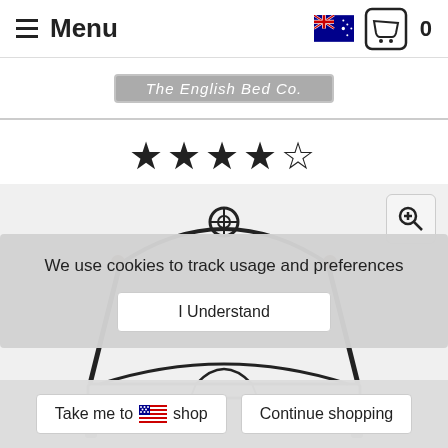≡ Menu
[Figure (logo): The English Bed Co. logo banner, grey background]
[Figure (other): 4.5 star rating displayed as black stars]
[Figure (photo): Iron bed frame product image, partially visible, with zoom button in top right corner]
We use cookies to track usage and preferences
I Understand
Take me to 🇺🇸 shop
Continue shopping